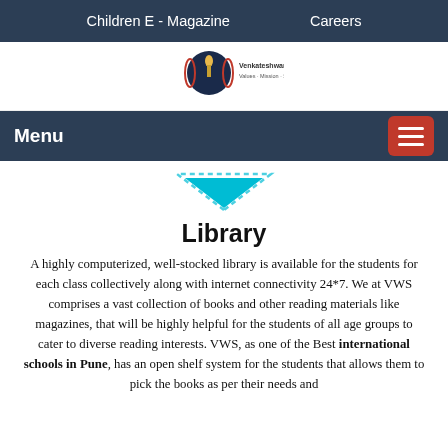Children E - Magazine   Careers
[Figure (logo): Venkateshwar World School logo with torch and laurel wreath, circular dark blue badge, text 'Venkateshwar World School Values · Mission · Success']
Menu
[Figure (illustration): Downward pointing solid cyan/teal triangle chevron with dashed border outline]
Library
A highly computerized, well-stocked library is available for the students for each class collectively along with internet connectivity 24*7. We at VWS comprises a vast collection of books and other reading materials like magazines, that will be highly helpful for the students of all age groups to cater to diverse reading interests. VWS, as one of the Best international schools in Pune, has an open shelf system for the students that allows them to pick the books as per their needs and